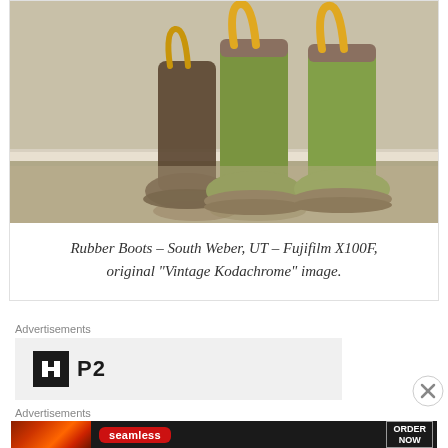[Figure (photo): Two green rubber rain boots with brown soles and yellow handles, sitting on a carpet against a wall. Photo taken in South Weber, UT with Fujifilm X100F camera using Vintage Kodachrome film simulation.]
Rubber Boots – South Weber, UT – Fujifilm X100F, original “Vintage Kodachrome” image.
Advertisements
[Figure (logo): P2 logo — black square icon with stylized H shape beside bold text 'P2']
[Figure (other): Close/dismiss button (X in circle)]
Advertisements
[Figure (screenshot): Seamless food delivery advertisement banner with pizza image on left, red Seamless badge in center, and 'ORDER NOW' button on right, all on dark background]